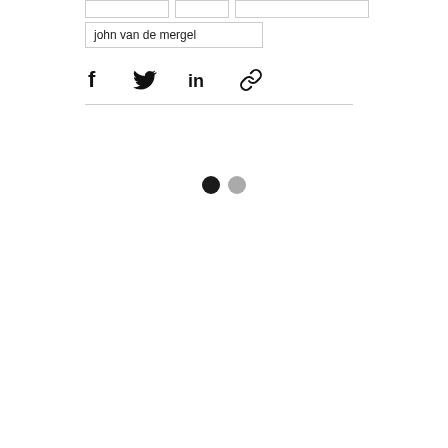[Figure (screenshot): Three small empty input boxes side by side at the top]
john van de mergel
[Figure (infographic): Four social share icons: Facebook (f), Twitter bird, LinkedIn (in), and a link/chain icon]
[Figure (infographic): Two dots indicating a loading or pagination state: one black dot and one gray dot]